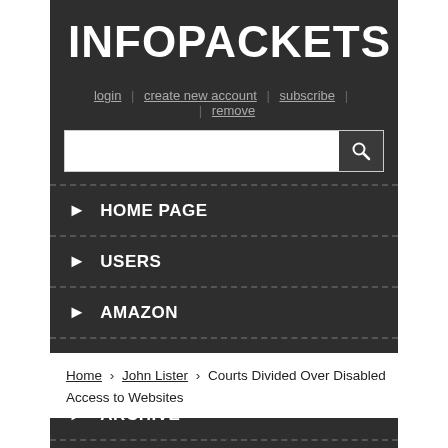INFOPACKETS
login | create new account | subscribe | remove
HOME PAGE
USERS
AMAZON
DONATE
ARCHIVE
CONTACT
Home › John Lister › Courts Divided Over Disabled Access to Websites